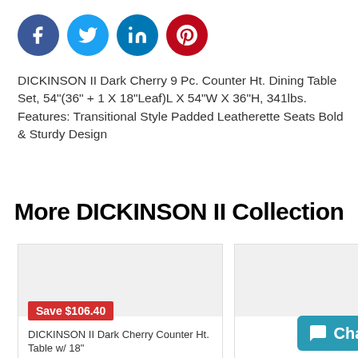[Figure (other): Social media sharing icons: Facebook (blue circle), Twitter (light blue circle), LinkedIn (teal circle), Pinterest (red circle)]
DICKINSON II Dark Cherry 9 Pc. Counter Ht. Dining Table Set, 54"(36" + 1 X 18"Leaf)L X 54"W X 36"H, 341lbs. Features: Transitional Style Padded Leatherette Seats Bold & Sturdy Design
More DICKINSON II Collection
[Figure (other): Product card with gray placeholder image, red save badge reading 'Save $106.40', and product title 'DICKINSON II Dark Cherry Counter Ht. Table w/ 18"']
[Figure (other): Second product card (partially visible) with gray placeholder image and a teal Chat button]